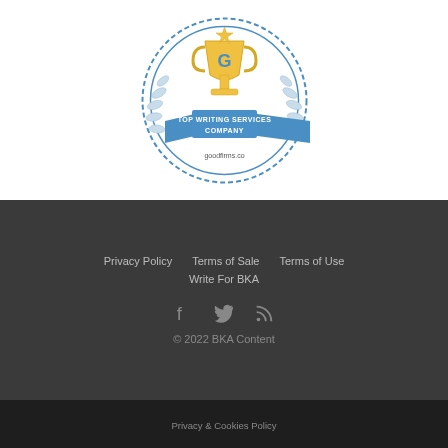[Figure (logo): GoodFirms badge: circular badge with trophy icon and laurel wreath border, blue ribbon banner reading TOP WRITING SERVICES COMPANY, goodfirms.co text below]
Privacy Policy   Terms of Sale   Terms of Use   Write For BKA
[Figure (other): Social media icons: Facebook (f), Twitter (bird), RSS feed icons in grey]
© 2022 BKA Content
Privacy & Cookies Policy